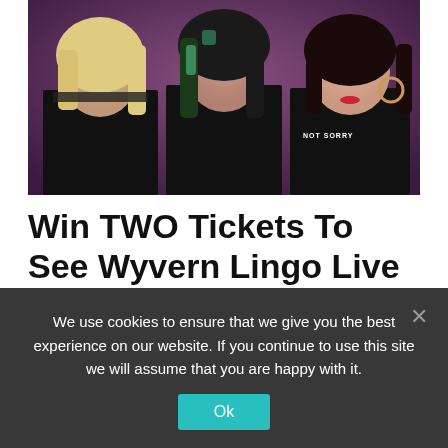[Figure (photo): Three women posing together against a purple/dark background. Left: blonde hair, black outfit. Center: teal/dark hair, black outfit. Right: dark hair, black t-shirt reading 'NOT SORRY'.]
Win TWO Tickets To See Wyvern Lingo Live At The Lexington | Competition
by Ayo Adepoju · January 19, 2016
We use cookies to ensure that we give you the best experience on our website. If you continue to use this site we will assume that you are happy with it.